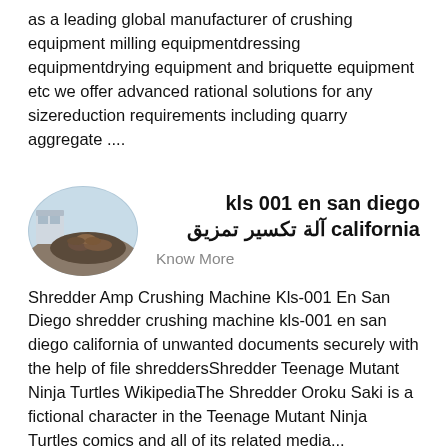as a leading global manufacturer of crushing equipment milling equipmentdressing equipmentdrying equipment and briquette equipment etc we offer advanced rational solutions for any sizereduction requirements including quarry aggregate ....
[Figure (photo): Oval/ellipse shaped thumbnail photo of industrial machinery and logs at an outdoor facility]
kls 001 en san diego california آلة تكسير تمزيق
Know More
Shredder Amp Crushing Machine Kls-001 En San Diego shredder crushing machine kls-001 en san diego california of unwanted documents securely with the help of file shreddersShredder Teenage Mutant Ninja Turtles WikipediaThe Shredder Oroku Saki is a fictional character in the Teenage Mutant Ninja Turtles comics and all of its related media...